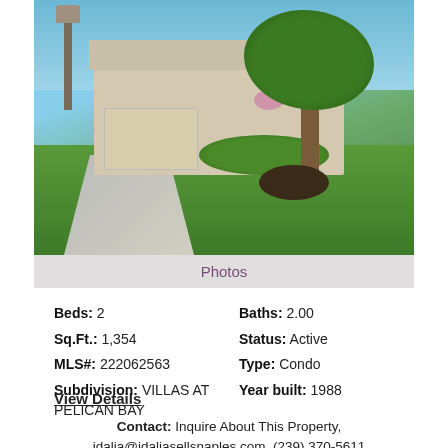[Figure (photo): Exterior photo of a residential property - VILLAS AT PELICAN BAY condo showing a single-story home with white/tan exterior, palm trees, green lawn, a lamp post, and lush landscaping with green trees in foreground]
Photos
Beds: 2   Baths: 2.00
Sq.Ft.: 1,354   Status: Active
MLS#: 222062563   Type: Condo
Subdivision: VILLAS AT PELICAN BAY   Year built: 1988
View Details
Contact: Inquire About This Property, idalia@idaliasellsnaples.com, (239) 370-5611